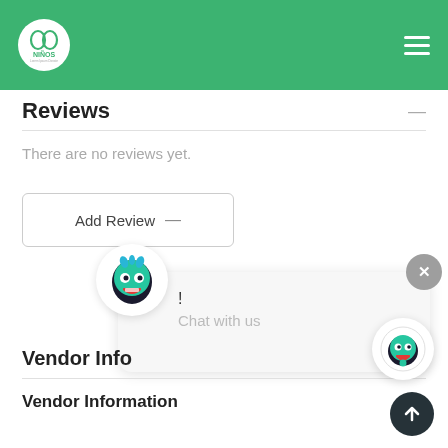[Figure (screenshot): Green navigation header with Niños logo circle on left and hamburger menu on right]
Reviews
There are no reviews yet.
Add Review —
[Figure (illustration): Chat popup with monster avatar, exclamation mark, and 'Chat with us' label, plus close X button]
[Figure (illustration): Floating chat monster icon button in bottom right]
[Figure (illustration): Dark scroll-to-top arrow button in bottom right]
Vendor Info
Vendor Information